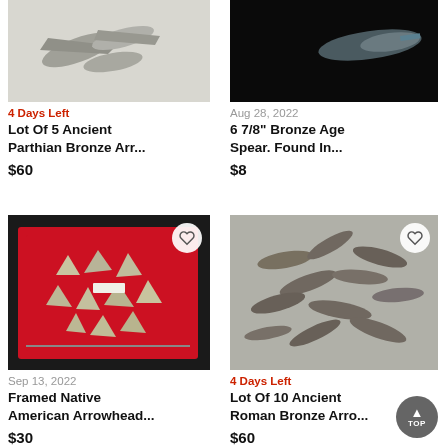[Figure (photo): Partial view of bronze arrowheads on white background, top left item]
4 Days Left
Lot Of 5 Ancient Parthian Bronze Arr...
$60
[Figure (photo): Partial view of bronze spear on black background, top right item]
Aug 28, 2022
6 7/8" Bronze Age Spear. Found In...
$8
[Figure (photo): Framed Native American arrowheads displayed on red background in a glass frame, bottom left item]
Sep 13, 2022
Framed Native American Arrowhead...
$30
[Figure (photo): Lot of 10 ancient Roman bronze arrowheads scattered on gray background, bottom right item]
4 Days Left
Lot Of 10 Ancient Roman Bronze Arro...
$60